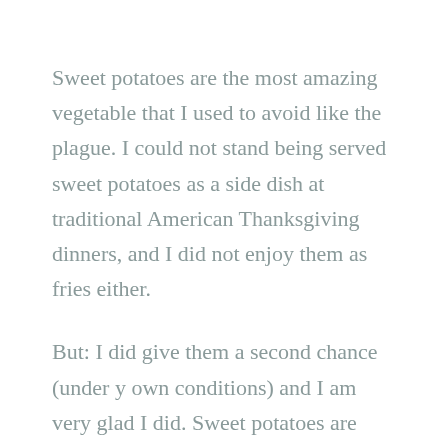Sweet potatoes are the most amazing vegetable that I used to avoid like the plague. I could not stand being served sweet potatoes as a side dish at traditional American Thanksgiving dinners, and I did not enjoy them as fries either.
But: I did give them a second chance (under y own conditions) and I am very glad I did. Sweet potatoes are sweet, very sweet, especially when roasted! This makes them an ideal natural sweetener for desserts and treats, and I've been using them as a key ingredient for pancakes, super-sweet sweet potato butter, and even chocolate mousse pie. Sweet potatoes are also a